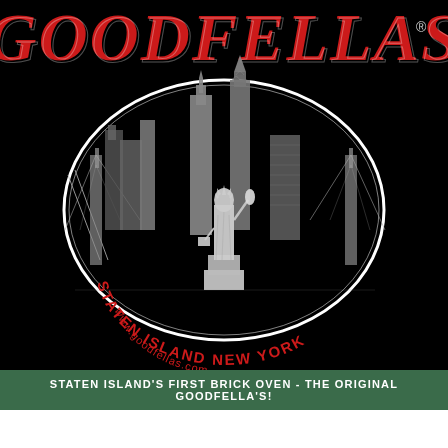[Figure (logo): Goodfellas pizza restaurant logo on black background. Features large red decorative text 'GOODFELLAS' at the top with a registered trademark symbol. Below is an oval illustration showing New York City skyline with bridges, the Statue of Liberty in the center, and skyscrapers. Inside the oval, curved red text reads 'STATEN ISLAND NEW YORK' and below it 'www.goodfellas.com'. A dark green banner at the bottom reads 'STATEN ISLAND'S FIRST BRICK OVEN - THE ORIGINAL GOODFELLA'S!']